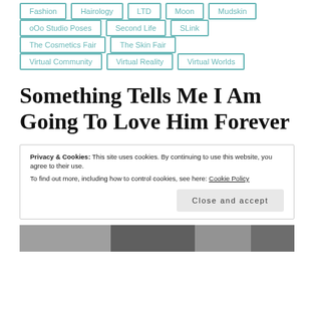Fashion
Hairology
LTD
Moon
Mudskin
oOo Studio Poses
Second Life
SLink
The Cosmetics Fair
The Skin Fair
Virtual Community
Virtual Reality
Virtual Worlds
Something Tells Me I Am Going To Love Him Forever
Privacy & Cookies: This site uses cookies. By continuing to use this website, you agree to their use. To find out more, including how to control cookies, see here: Cookie Policy
[Figure (photo): Partial photo strip at bottom of page, showing a black and white image]